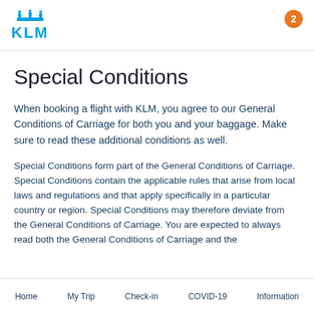KLM
Special Conditions
When booking a flight with KLM, you agree to our General Conditions of Carriage for both you and your baggage. Make sure to read these additional conditions as well.
Special Conditions form part of the General Conditions of Carriage. Special Conditions contain the applicable rules that arise from local laws and regulations and that apply specifically in a particular country or region. Special Conditions may therefore deviate from the General Conditions of Carriage. You are expected to always read both the General Conditions of Carriage and the
Home   My Trip   Check-in   COVID-19   Information